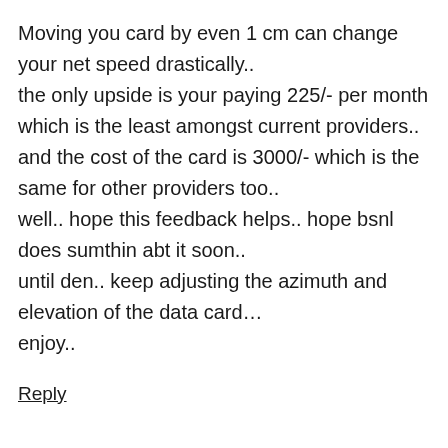Moving you card by even 1 cm can change your net speed drastically.. the only upside is your paying 225/- per month which is the least amongst current providers.. and the cost of the card is 3000/- which is the same for other providers too.. well.. hope this feedback helps.. hope bsnl does sumthin abt it soon.. until den.. keep adjusting the azimuth and elevation of the data card… enjoy..
Reply